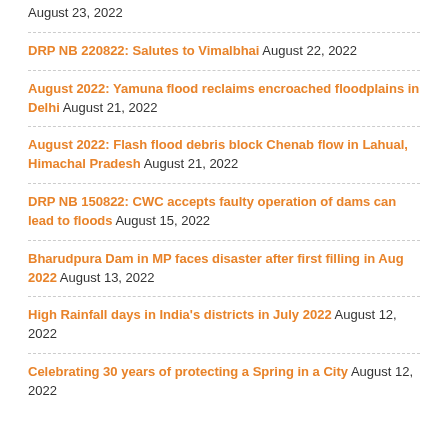August 23, 2022
DRP NB 220822: Salutes to Vimalbhai August 22, 2022
August 2022: Yamuna flood reclaims encroached floodplains in Delhi August 21, 2022
August 2022: Flash flood debris block Chenab flow in Lahual, Himachal Pradesh August 21, 2022
DRP NB 150822: CWC accepts faulty operation of dams can lead to floods August 15, 2022
Bharudpura Dam in MP faces disaster after first filling in Aug 2022 August 13, 2022
High Rainfall days in India's districts in July 2022 August 12, 2022
Celebrating 30 years of protecting a Spring in a City August 12, 2022